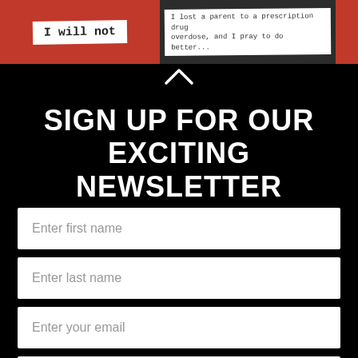[Figure (photo): Top strip showing handwritten notes on cards against a red/dark background. Left card reads 'I will not', center card has handwritten text about losing a parent to prescription drug overdose.]
SIGN UP FOR OUR EXCITING NEWSLETTER
Enter first name
Enter last name
Enter your email
Enter zip code
Subscribe